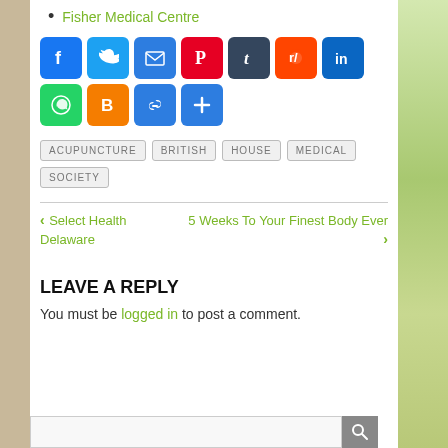Fisher Medical Centre
[Figure (infographic): Social sharing icon buttons: Facebook, Twitter, Email, Pinterest, Tumblr, Reddit, LinkedIn, WhatsApp, Blogger, Copy Link, Share More]
ACUPUNCTURE  BRITISH  HOUSE  MEDICAL  SOCIETY
◄ Select Health Delaware
5 Weeks To Your Finest Body Ever ►
LEAVE A REPLY
You must be logged in to post a comment.